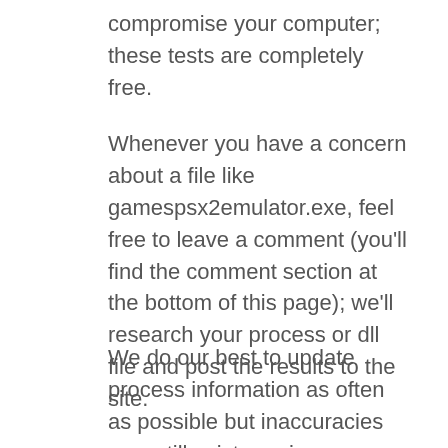compromise your computer; these tests are completely free.
Whenever you have a concern about a file like gamespsx2emulator.exe, feel free to leave a comment (you'll find the comment section at the bottom of this page); we'll research your process or dll file and post the results to the site.
We do our best to update process information as often as possible but inaccuracies may still exist; a prime example would be a virus that is named